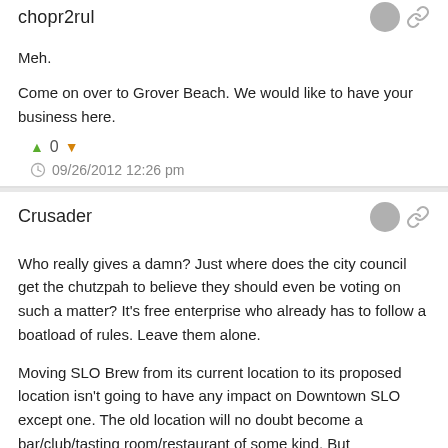chopr2rul
Meh.
Come on over to Grover Beach. We would like to have your business here.
↑ 0 ↓
09/26/2012 12:26 pm
Crusader
Who really gives a damn? Just where does the city council get the chutzpah to believe they should even be voting on such a matter? It's free enterprise who already has to follow a boatload of rules. Leave them alone.
Moving SLO Brew from its current location to its proposed location isn't going to have any impact on Downtown SLO except one. The old location will no doubt become a bar/club/tasting room/restaurant of some kind. But